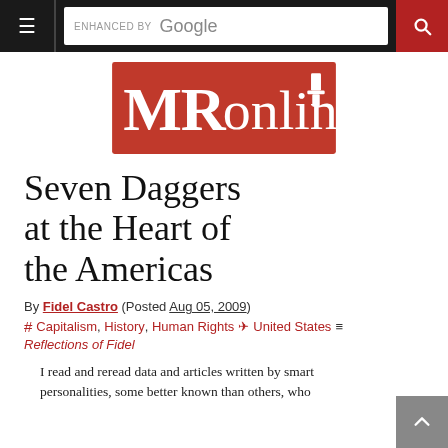MRonline — navigation bar with hamburger menu, Google search box, and search button
[Figure (logo): MRonline logo — white text on red background rectangle]
Seven Daggers at the Heart of the Americas
By Fidel Castro (Posted Aug 05, 2009)
# Capitalism, History, Human Rights ✈ United States ≡ Reflections of Fidel
I read and reread data and articles written by smart personalities, some better known than others, who